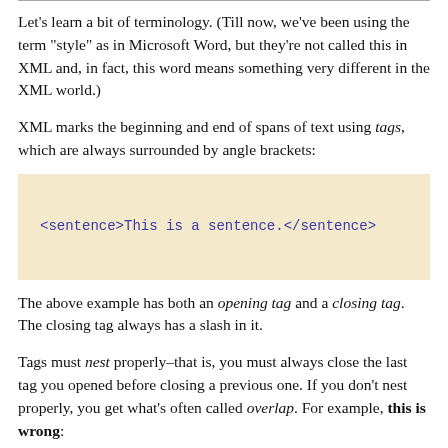Let's learn a bit of terminology. (Till now, we've been using the term "style" as in Microsoft Word, but they're not called this in XML and, in fact, this word means something very different in the XML world.)
XML marks the beginning and end of spans of text using tags, which are always surrounded by angle brackets:
[Figure (screenshot): Code box with beige background showing: <sentence>This is a sentence.</sentence>]
The above example has both an opening tag and a closing tag. The closing tag always has a slash in it.
Tags must nest properly–that is, you must always close the last tag you opened before closing a previous one. If you don't nest properly, you get what's often called overlap. For example, this is wrong:
[Figure (screenshot): Code box with beige background (partially visible at bottom of page)]